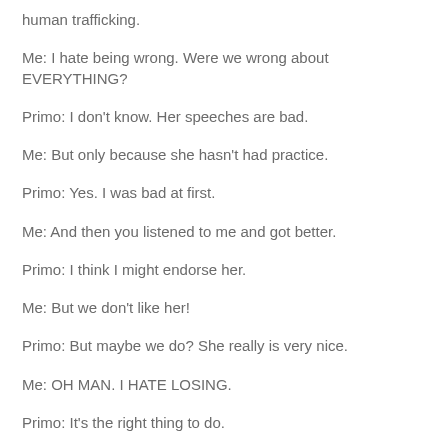human trafficking.
Me: I hate being wrong. Were we wrong about EVERYTHING?
Primo: I don't know. Her speeches are bad.
Me: But only because she hasn't had practice.
Primo: Yes. I was bad at first.
Me: And then you listened to me and got better.
Primo: I think I might endorse her.
Me: But we don't like her!
Primo: But maybe we do? She really is very nice.
Me: OH MAN. I HATE LOSING.
Primo: It's the right thing to do.